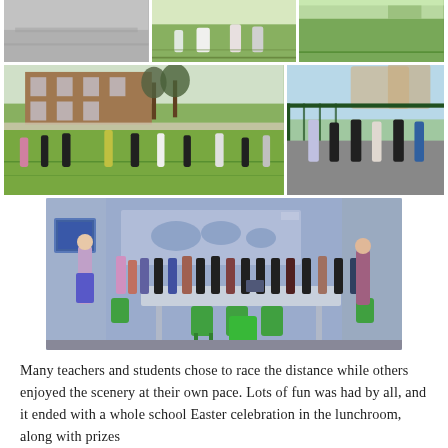[Figure (photo): Top row of three photos: outdoor school yard/sports activities]
[Figure (photo): Middle row: left photo shows students on green sports pitch with brick school building behind; right photo shows students walking along a path next to green fence with apartment buildings in background]
[Figure (photo): Large photo: indoor conference/lunchroom with a group of teachers and students gathered around a table with green chairs, blue-lit room with world map on wall]
Many teachers and students chose to race the distance while others enjoyed the scenery at their own pace. Lots of fun was had by all, and it ended with a whole school Easter celebration in the lunchroom, along with prizes